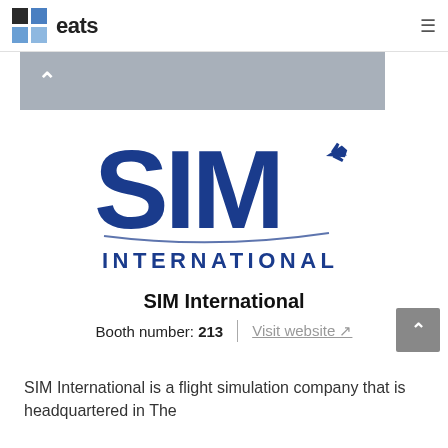eats
[Figure (logo): SIM International logo — large bold blue letters SIM with an airplane swoosh and the word INTERNATIONAL below]
SIM International
Booth number: 213 | Visit website ↗
SIM International is a flight simulation company that is headquartered in The